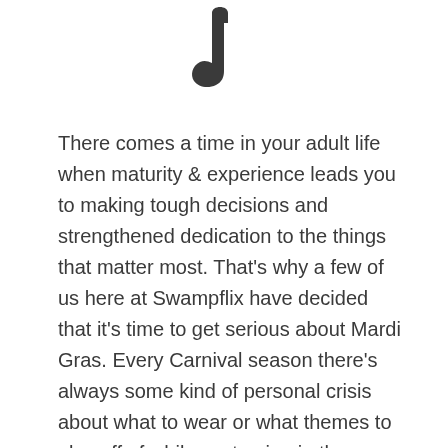[Figure (illustration): A stylized black musical note or similar icon shape at the top center of the page]
There comes a time in your adult life when maturity & experience leads you to making tough decisions and strengthened dedication to the things that matter most. That's why a few of us here at Swampflix have decided that it's time to get serious about Mardi Gras. Every Carnival season there's always some kind of personal crisis about what to wear or what themes to play off of while costuming in the Quarter, but that's something that never seems to be a problem for krewes that stick with a consistent theme in their annual masquerading. Those revelers always seem to have their shit together. Since Swampflix was launched two years ago, we've tried our best to find the ways cinema is represented in Mardi Gras festivities, whether by examining the Star W…